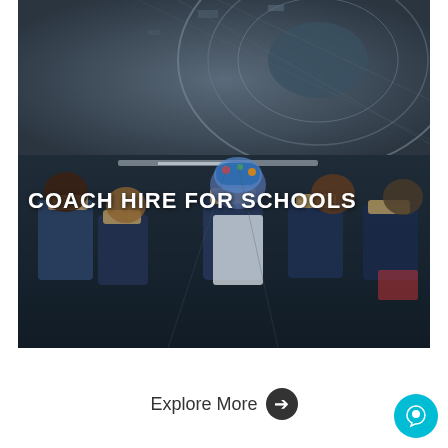[Figure (photo): Two-part composite image: top portion shows an aerial/architectural view of a stadium or circular structure with grid patterns; bottom portion shows the interior of a coach/bus with passengers seated in blue seats, viewed from behind. A dark semi-transparent overlay covers the bottom image.]
COACH HIRE FOR SCHOOLS
Explore More →